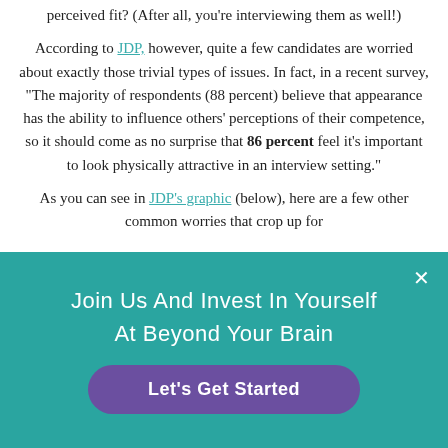perceived fit? (After all, you’re interviewing them as well!)
According to JDP, however, quite a few candidates are worried about exactly those trivial types of issues. In fact, in a recent survey, “The majority of respondents (88 percent) believe that appearance has the ability to influence others’ perceptions of their competence, so it should come as no surprise that 86 percent feel it’s important to look physically attractive in an interview setting.”
As you can see in JDP’s graphic (below), here are a few other common worries that crop up for
[Figure (other): Teal promotional banner overlay with text 'Join Us And Invest In Yourself At Beyond Your Brain' and a purple 'Let's Get Started' button, with a white X close button.]